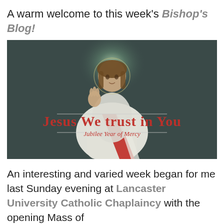A warm welcome to this week's Bishop's Blog!
[Figure (illustration): Divine Mercy image of Jesus Christ with raised hand, rays of light, on dark teal background. Text overlay reads 'Jesus We trust in You' in red, and 'Jubilee Year of Mercy' in smaller red italic text, with decorative horizontal lines.]
An interesting and varied week began for me last Sunday evening at Lancaster University Catholic Chaplaincy with the opening Mass of the new academic year. A treat to the Holy Spirit...